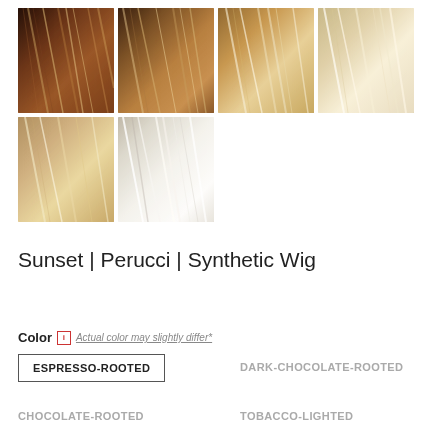[Figure (photo): Six hair color swatches displayed in two rows. Top row shows four swatches: espresso-brown, dark chocolate, medium blonde, and light sandy blonde. Bottom row shows two swatches: golden blonde and platinum/white blonde.]
Sunset | Perucci | Synthetic Wig
Color  ℹ Actual color may slightly differ*
ESPRESSO-ROOTED
DARK-CHOCOLATE-ROOTED
CHOCOLATE-ROOTED
TOBACCO-LIGHTED